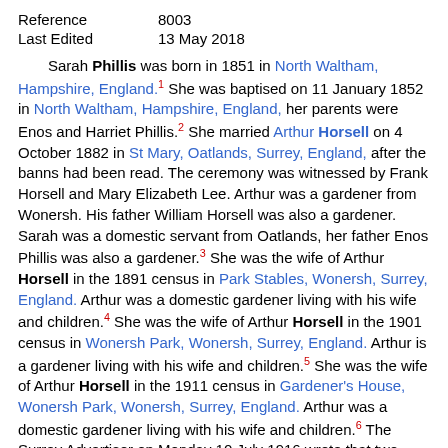| Reference | 8003 |
| Last Edited | 13 May 2018 |
Sarah Phillis was born in 1851 in North Waltham, Hampshire, England.1 She was baptised on 11 January 1852 in North Waltham, Hampshire, England, her parents were Enos and Harriet Phillis.2 She married Arthur Horsell on 4 October 1882 in St Mary, Oatlands, Surrey, England, after the banns had been read. The ceremony was witnessed by Frank Horsell and Mary Elizabeth Lee. Arthur was a gardener from Wonersh. His father William Horsell was also a gardener. Sarah was a domestic servant from Oatlands, her father Enos Phillis was also a gardener.3 She was the wife of Arthur Horsell in the 1891 census in Park Stables, Wonersh, Surrey, England. Arthur was a domestic gardener living with his wife and children.4 She was the wife of Arthur Horsell in the 1901 census in Wonersh Park, Wonersh, Surrey, England. Arthur is a gardener living with his wife and children.5 She was the wife of Arthur Horsell in the 1911 census in Gardener's House, Wonersh Park, Wonersh, Surrey, England. Arthur was a domestic gardener living with his wife and children.6 The Surrey Advertiser on Monday 10 July 1916 wrote that two Wonersh men were wounded at the front. They were Sergeant S Horsell, son of Mr and Mrs A Horsell, and Private John Moore. Both...